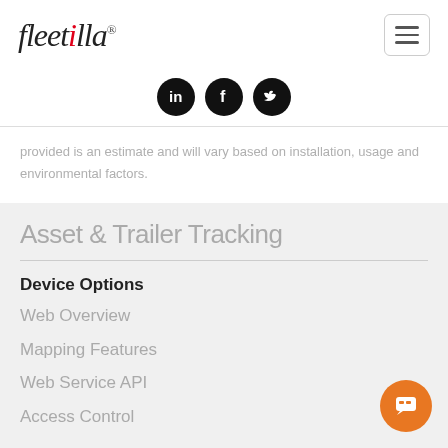fleetilla®
[Figure (logo): Fleetilla logo with red dot on the 'i', italic serif font, registered trademark symbol]
[Figure (infographic): Social media icons row: LinkedIn, Facebook, Twitter (black circles with white icons)]
provided is an estimate and will vary based on installation, usage and environmental factors.
Asset & Trailer Tracking
Device Options
Web Overview
Mapping Features
Web Service API
Access Control